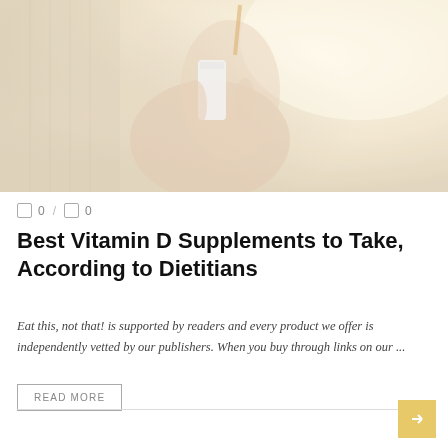[Figure (photo): A person's hands holding a white can or supplement bottle against a soft warm blurred background, wearing a cozy knit sweater.]
0 / 0
Best Vitamin D Supplements to Take, According to Dietitians
Eat this, not that! is supported by readers and every product we offer is independently vetted by our publishers. When you buy through links on our ...
READ MORE